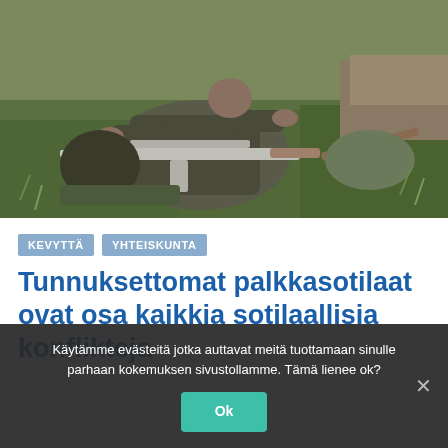[Figure (photo): A soldier or fighter sitting on grass, holding weapons including a submachine gun, with military gear visible around him.]
KEVYTTÄ
YHTEISKUNTA
Tunnuksettomat palkkasotilaat ovat osa kaikkia sotilaallisia konflikteja
Käytämme evästeitä jotka auttavat meitä tuottamaan sinulle parhaan kokemuksen sivustollamme. Tämä lienee ok?
Ok